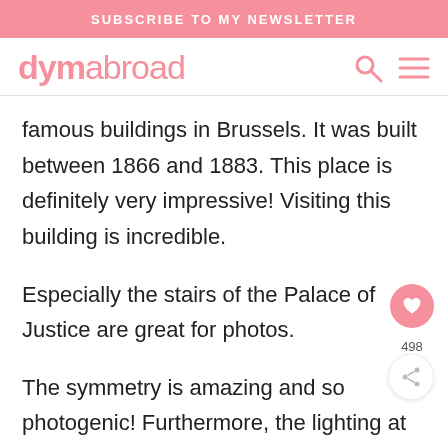SUBSCRIBE TO MY NEWSLETTER
dymabroad
famous buildings in Brussels. It was built between 1866 and 1883. This place is definitely very impressive! Visiting this building is incredible.
Especially the stairs of the Palace of Justice are great for photos.
The symmetry is amazing and so photogenic! Furthermore, the lighting at this location is also